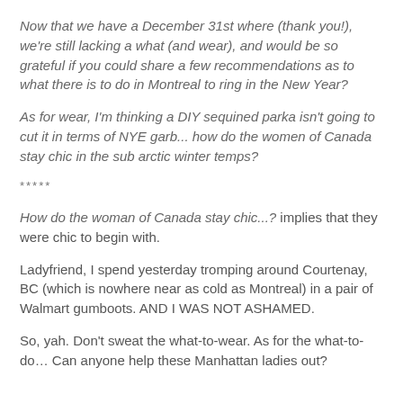Now that we have a December 31st where (thank you!), we're still lacking a what (and wear), and would be so grateful if you could share a few recommendations as to what there is to do in Montreal to ring in the New Year?
As for wear, I'm thinking a DIY sequined parka isn't going to cut it in terms of NYE garb... how do the women of Canada stay chic in the sub arctic winter temps?
*****
How do the woman of Canada stay chic...? implies that they were chic to begin with.
Ladyfriend, I spend yesterday tromping around Courtenay, BC (which is nowhere near as cold as Montreal) in a pair of Walmart gumboots. AND I WAS NOT ASHAMED.
So, yah. Don't sweat the what-to-wear. As for the what-to-do… Can anyone help these Manhattan ladies out?